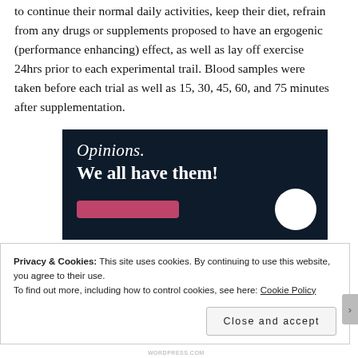to continue their normal daily activities, keep their diet, refrain from any drugs or supplements proposed to have an ergogenic (performance enhancing) effect, as well as lay off exercise 24hrs prior to each experimental trail. Blood samples were taken before each trial as well as 15, 30, 45, 60, and 75 minutes after supplementation.
[Figure (illustration): Dark navy advertisement banner with italic text 'Opinions.' and bold white text 'We all have them!' with a pink/red button and a white circle on the right side.]
Privacy & Cookies: This site uses cookies. By continuing to use this website, you agree to their use.
To find out more, including how to control cookies, see here: Cookie Policy
Close and accept